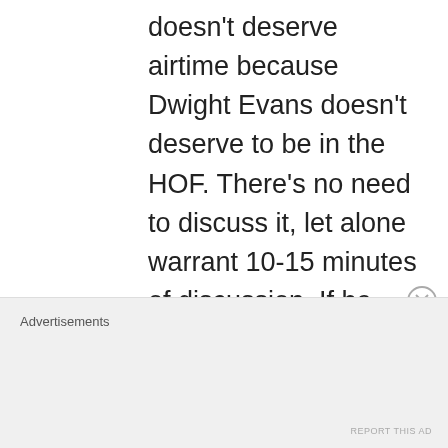doesn't deserve airtime because Dwight Evans doesn't deserve to be in the HOF. There's no need to discuss it, let alone warrant 10-15 minutes of discussion. If he were HOF worthy, then he'd be in already. But he isn't, so he isn't. And the fact that Buckley believes Evans deserves consideration and/or thinks anyone wants to talk about the possibility is why he
Advertisements